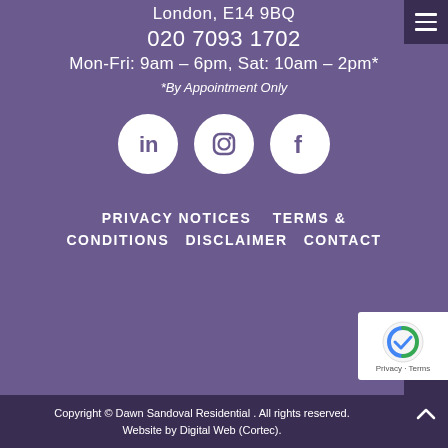London, E14 9BQ
020 7093 1702
Mon-Fri: 9am – 6pm, Sat: 10am – 2pm*
*By Appointment Only
[Figure (infographic): Three white circular social media icons on purple background: LinkedIn (in), Instagram (camera), Facebook (f)]
PRIVACY NOTICES    TERMS & CONDITIONS    DISCLAIMER    CONTACT
Copyright © Dawn Sandoval Residential . All rights reserved.
Website by Digital Web (Cortec).